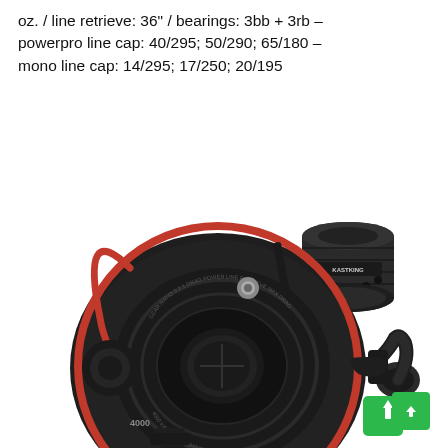oz. / line retrieve: 36" / bearings: 3bb + 3rb – powerpro line cap: 40/295; 50/290; 65/180 – mono line cap: 14/295; 17/250; 20/195
[Figure (photo): Product photo of a KastKing spinning fishing reel (model 4000) in black and red, shown with a spare spool. The reel has a red bail wire, dark metallic body, and visible spool with engraved text. The spare spool (black, cylindrical) with KastKing branding is shown to the upper right. A green scroll-to-top button appears at the bottom right corner.]